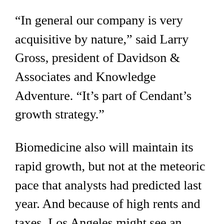“In general our company is very acquisitive by nature,” said Larry Gross, president of Davidson & Associates and Knowledge Adventure. “It’s part of Cendant’s growth strategy.”
Biomedicine also will maintain its rapid growth, but not at the meteoric pace that analysts had predicted last year. And because of high rents and taxes, Los Angeles might see an exodus of several large biotechnology companies.
Moreover, certain projects intended to entice